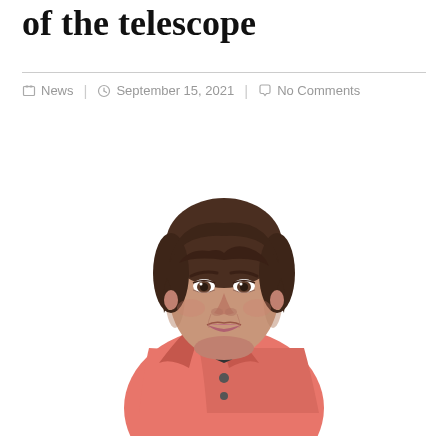of the telescope
News | September 15, 2021 | No Comments
[Figure (photo): A middle-aged woman with short dark hair wearing a salmon/coral pink jacket over a dark top, looking directly at the camera with a serious expression, photographed against a white background.]